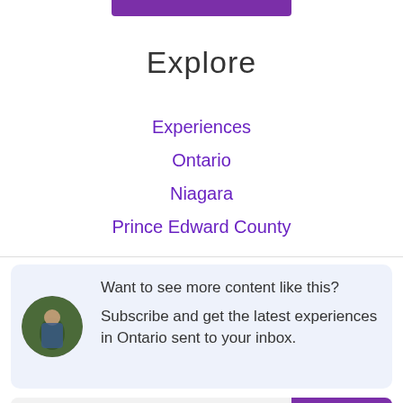[Figure (illustration): Purple decorative bar at top center]
Explore
Experiences
Ontario
Niagara
Prince Edward County
Want to see more content like this? Subscribe and get the latest experiences in Ontario sent to your inbox.
Email
Signup
⚡ by HollerBox